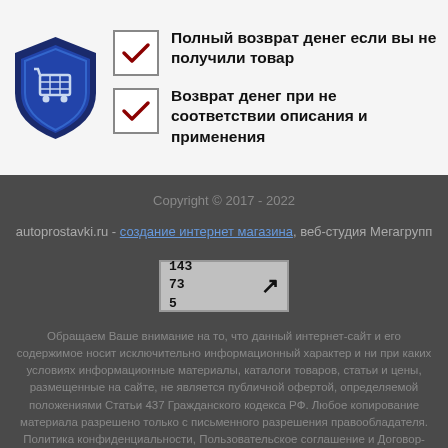[Figure (logo): Blue shield with shopping cart icon]
Полный возврат денег если вы не получили товар
Возврат денег при не соответствии описания и применения
Copyright © 2017 - 2022
autoprostavki.ru - создание интернет магазина, веб-студия Мегагрупп
[Figure (other): Site visit counter showing 143, 73, 5 with arrow icon]
Обращаем Ваше внимание на то, что данный интернет-сайт и его содержимое носит исключительно информационный характер и ни при каких условиях информационные материалы, каталоги товаров, статьи и цены, размещенные на сайте, не является публичной офертой, определяемой положениями Статьи 437 Гражданского кодекса РФ. Любое копирование материала разрешено только с письменного разрешения правообладателя. Политика конфиденциальности, Пользовательское соглашение и Договор-оферта.